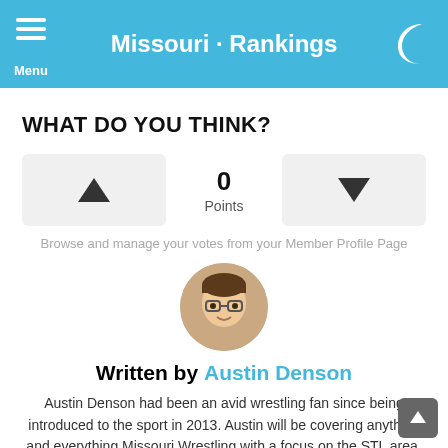Missouri · Rankings
WHAT DO YOU THINK?
0 Points (vote buttons)
Browse and manage your votes from your Member Profile Page
[Figure (photo): Circular profile photo of Austin Denson, a young man with glasses and short dark hair, smiling]
Written by Austin Denson
Austin Denson had been an avid wrestling fan since being introduced to the sport in 2013. Austin will be covering anything and everything Missouri Wrestling with a focus on the STL area. Mostly providing recap, reviews, and interviews when given the